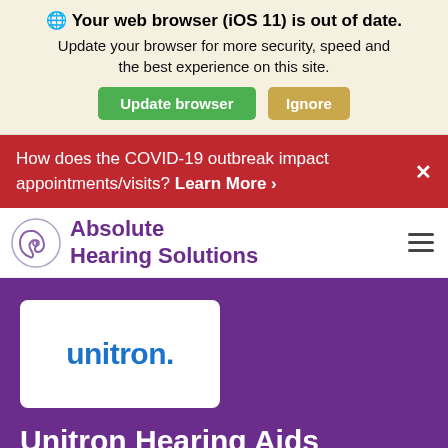🌐 Your web browser (iOS 11) is out of date. Update your browser for more security, speed and the best experience on this site. Update browser | Ignore
How does the COVID-19 outbreak impact appointments/visits? Learn More ›
[Figure (logo): Absolute Hearing Solutions logo with ear icon and purple text]
[Figure (logo): Unitron logo in blue text on white card background]
Unitron Hearing Aids
We're a global company that designs and manufactures really great hearing instruments. That's what we do. More important is why we do it. We do it because hearing matters. We partner with dedicated hearing